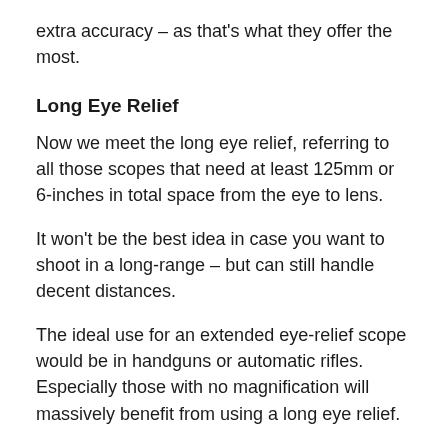extra accuracy – as that's what they offer the most.
Long Eye Relief
Now we meet the long eye relief, referring to all those scopes that need at least 125mm or 6-inches in total space from the eye to lens.
It won't be the best idea in case you want to shoot in a long-range – but can still handle decent distances.
The ideal use for an extended eye-relief scope would be in handguns or automatic rifles. Especially those with no magnification will massively benefit from using a long eye relief.